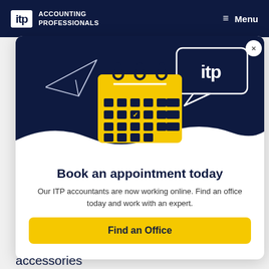itp ACCOUNTING PROFESSIONALS   ☰ Menu
[Figure (illustration): ITP accounting professionals modal popup with calendar icon, paper airplane, and ITP speech bubble on dark navy background]
Book an appointment today
Our ITP accountants are now working online. Find an office today and work with an expert.
Find an Office
accessories